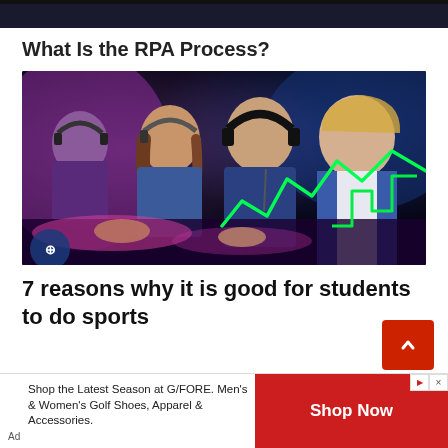[Figure (photo): Dark top strip remnant of a previous image, dark background]
What Is the RPA Process?
[Figure (photo): Esports photo showing young people wearing headphones playing at gaming computers in a dark, colorful lit room with a green neon graph overlay]
7 reasons why it is good for students to do sports
[Figure (infographic): Advertisement bar: Shop the Latest Season at G/FORE. Men's & Women's Golf Shoes, Apparel & Accessories. Shop Now button in red.]